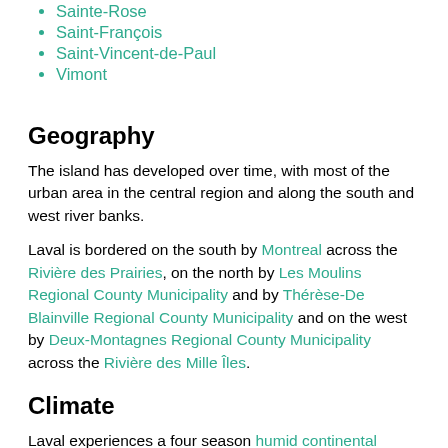Sainte-Rose
Saint-François
Saint-Vincent-de-Paul
Vimont
Geography
The island has developed over time, with most of the urban area in the central region and along the south and west river banks.
Laval is bordered on the south by Montreal across the Rivière des Prairies, on the north by Les Moulins Regional County Municipality and by Thérèse-De Blainville Regional County Municipality and on the west by Deux-Montagnes Regional County Municipality across the Rivière des Mille Îles.
Climate
Laval experiences a four season humid continental climate (Koppen: Dfb) with very warm summers and very cold winters with adequate precipitation year round, though more so during autumn and fall.[8]